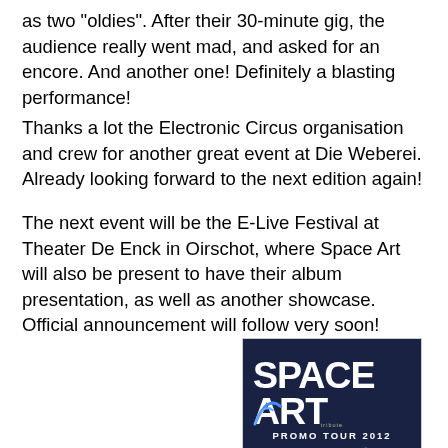as two "oldies". After their 30-minute gig, the audience really went mad, and asked for an encore. And another one! Definitely a blasting performance!
Thanks a lot the Electronic Circus organisation and crew for another great event at Die Weberei. Already looking forward to the next edition again!
The next event will be the E-Live Festival at Theater De Enck in Oirschot, where Space Art will also be present to have their album presentation, as well as another showcase. Official announcement will follow very soon!
[Figure (photo): Space Art Promo Tour 2012 promotional poster on dark navy background with large white SPACE ART logo text, subtitle 'tribute', and tour dates listed including Electronic Circus festival in Gütersloh Germany, fan meetings in Benidorm Spain and Hamburg Germany, E-Live Festival in Oirschot Netherlands, and note about schedule for Nov & Dec coming next.]